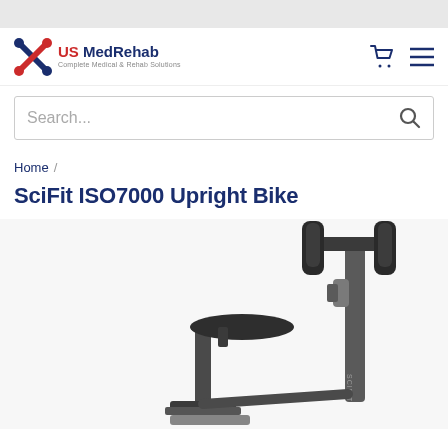[Figure (logo): US MedRehab logo with red and blue cross/star icon and text 'US MedRehab - Complete Medical & Rehab Solutions']
Search...
Home /
SciFit ISO7000 Upright Bike
[Figure (photo): Close-up photo of a SciFit ISO7000 Upright Bike showing the bike seat and handlebars on a white background]